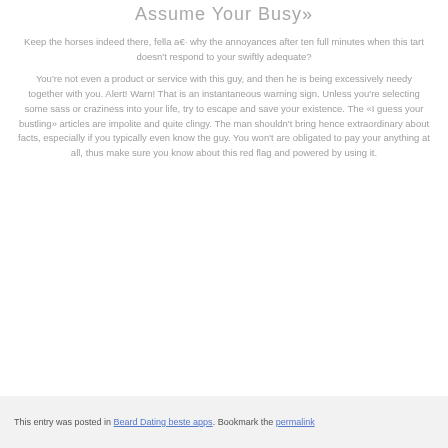Assume Your Busy»
Keep the horses indeed there, fella a€· why the annoyances after ten full minutes when this tart doesn't respond to your swiftly adequate?
You're not even a product or service with this guy, and then he is being excessively needy together with you. Alert! Warn! That is an instantaneous warning sign. Unless you're selecting some sass or craziness into your life, try to escape and save your existence. The «I guess your bustling» articles are impolite and quite clingy. The man shouldn't bring hence extraordinary about facts, especially if you typically even know the guy. You won't are obligated to pay your anything at all, thus make sure you know about this red flag and powered by using it.
This entry was posted in Beard Dating beste apps. Bookmark the permalink